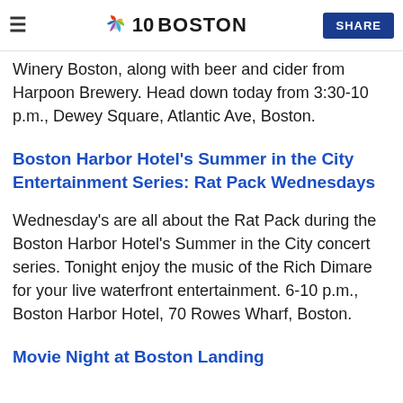NBC10 Boston | SHARE
Winery Boston, along with beer and cider from Harpoon Brewery. Head down today from 3:30-10 p.m., Dewey Square, Atlantic Ave, Boston.
Boston Harbor Hotel's Summer in the City Entertainment Series: Rat Pack Wednesdays
Wednesday's are all about the Rat Pack during the Boston Harbor Hotel's Summer in the City concert series. Tonight enjoy the music of the Rich Dimare for your live waterfront entertainment. 6-10 p.m., Boston Harbor Hotel, 70 Rowes Wharf, Boston.
Movie Night at Boston Landing